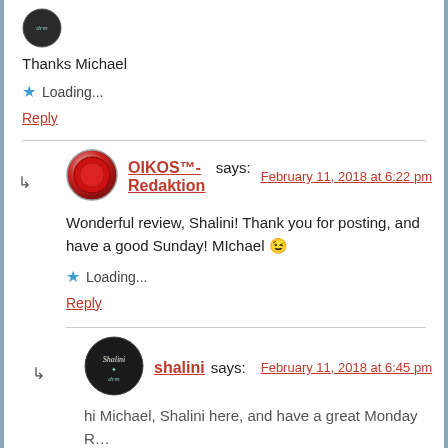[Figure (illustration): Small circular avatar with dark background and drm text/logo, top portion visible]
Thanks Michael
Loading...
Reply
[Figure (illustration): Circular red button avatar for OIKOS Redaktion]
OIKOS™-Redaktion says:   February 11, 2018 at 6:22 pm
Wonderful review, Shalini! Thank you for posting, and have a good Sunday! MIchael 😉
Loading...
Reply
[Figure (illustration): Circular dark avatar with shalini drm text]
shalini says:   February 11, 2018 at 6:45 pm
hi Michael, Shalini here, and have a great Monday R...